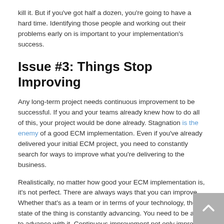kill it. But if you've got half a dozen, you're going to have a hard time. Identifying those people and working out their problems early on is important to your implementation's success.
Issue #3: Things Stop Improving
Any long-term project needs continuous improvement to be successful. If you and your teams already knew how to do all of this, your project would be done already. Stagnation is the enemy of a good ECM implementation. Even if you've already delivered your initial ECM project, you need to constantly search for ways to improve what you're delivering to the business.
Realistically, no matter how good your ECM implementation is, it's not perfect. There are always ways that you can improve. Whether that's as a team or in terms of your technology, the state of the thing is constantly advancing. You need to be able to advance with it. Continuous improvement not only improves your efficiency, but it boosts employee morale too. High employee morale and a good sense of the cutting edge makes it easy to recruit talented new employees. It also becomes much easier to